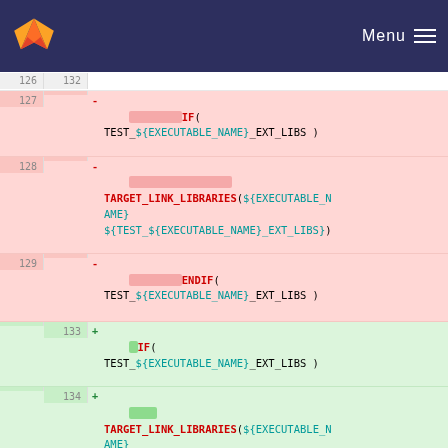[Figure (screenshot): GitLab navigation bar with orange fox logo and Menu hamburger icon on dark navy background]
Code diff view showing CMake script changes around lines 126-136, with removed lines (pink) and added lines (green) showing IF/ENDIF blocks with TARGET_LINK_LIBRARIES for TEST_${EXECUTABLE_NAME}_EXT_LIBS
Line 126/132: blank
Line 127 removed: IF( TEST_${EXECUTABLE_NAME}_EXT_LIBS )
Line 128 removed: TARGET_LINK_LIBRARIES(${EXECUTABLE_NAME} ${TEST_${EXECUTABLE_NAME}_EXT_LIBS})
Line 129 removed: ENDIF( TEST_${EXECUTABLE_NAME}_EXT_LIBS )
Line 133 added: IF( TEST_${EXECUTABLE_NAME}_EXT_LIBS )
Line 134 added: TARGET_LINK_LIBRARIES(${EXECUTABLE_NAME} ${TEST_${EXECUTABLE_NAME}_EXT_LIBS})
Line 135 added: ENDIF( TEST_${EXECUTABLE_NAME}_EXT_LIBS )
Line 130/136: blank
Line 131 removed: IF (UNIX)